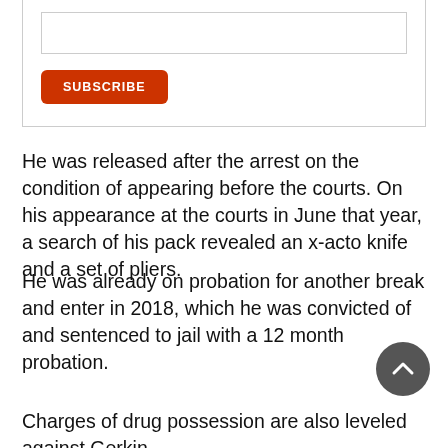[Figure (other): Subscribe form with input field and orange SUBSCRIBE button]
He was released after the arrest on the condition of appearing before the courts. On his appearance at the courts in June that year, a search of his pack revealed an x-acto knife and a set of pliers.
He was already on probation for another break and enter in 2018, which he was convicted of and sentenced to jail with a 12 month probation.
Charges of drug possession are also leveled against Gerkin,